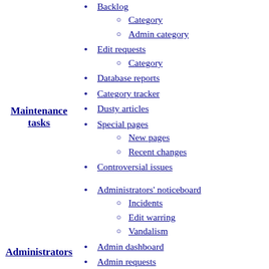Maintenance tasks
Backlog
Category
Admin category
Edit requests
Category
Database reports
Category tracker
Dusty articles
Special pages
New pages
Recent changes
Controversial issues
Administrators' noticeboard
Incidents
Edit warring
Vandalism
Admin dashboard
Admin requests
Closure
Page protection
User permissions
Sockpuppets
Open proxies
Revision deletion
Administrators